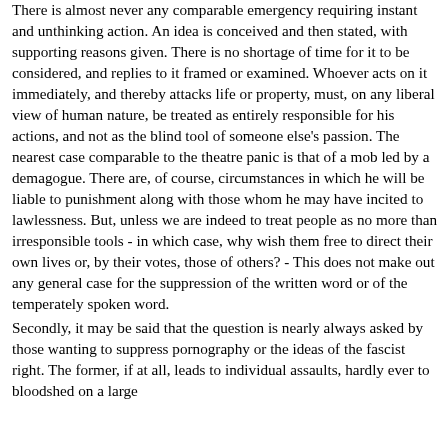There is almost never any comparable emergency requiring instant and unthinking action. An idea is conceived and then stated, with supporting reasons given. There is no shortage of time for it to be considered, and replies to it framed or examined. Whoever acts on it immediately, and thereby attacks life or property, must, on any liberal view of human nature, be treated as entirely responsible for his actions, and not as the blind tool of someone else's passion. The nearest case comparable to the theatre panic is that of a mob led by a demagogue. There are, of course, circumstances in which he will be liable to punishment along with those whom he may have incited to lawlessness. But, unless we are indeed to treat people as no more than irresponsible tools - in which case, why wish them free to direct their own lives or, by their votes, those of others? - This does not make out any general case for the suppression of the written word or of the temperately spoken word.
Secondly, it may be said that the question is nearly always asked by those wanting to suppress pornography or the ideas of the fascist right. The former, if at all, leads to individual assaults, hardly ever to bloodshed on a large